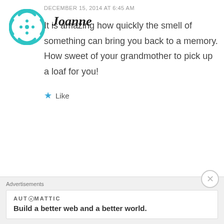[Figure (illustration): Teal/cyan circular avatar icon with dotted pattern]
Joanne
DECEMBER 15, 2014 AT 6:45 AM
It is amazing how quickly the smell of something can bring you back to a memory. How sweet of your grandmother to pick up a loaf for you!
Like
Advertisements
[Figure (logo): AUTOMATTIC logo with circular O mark]
Advertisements
AUTOMATTIC
Build a better web and a better world.